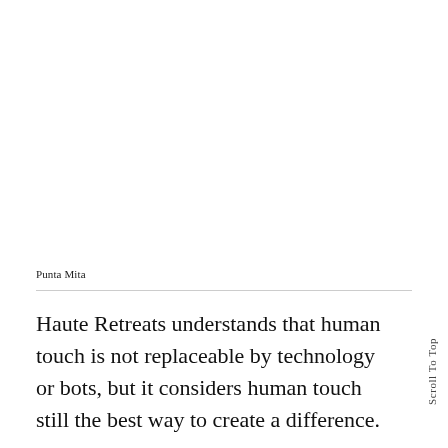Punta Mita
Haute Retreats understands that human touch is not replaceable by technology or bots, but it considers human touch still the best way to create a difference.